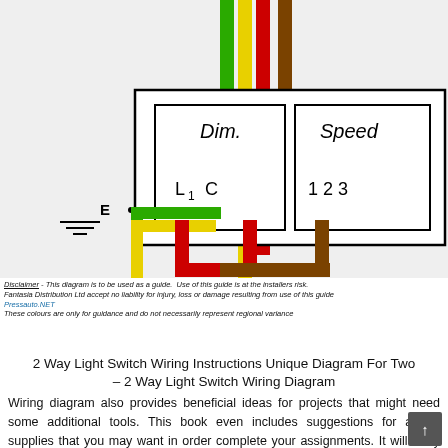[Figure (schematic): Wiring diagram showing a ceiling fan/light controller with Dim. (L1, C) and Speed (1, 2, 3) terminal blocks. Color-coded wires (green, yellow, red, brown) connect from the terminals to cables running upward. An earth symbol (E) is shown on the left side.]
Disclaimer - This diagram is to be used as a guide. Use of this guide is at the installers risk. Fantasia Distribution Ltd accept no liability for injury, loss or damage resulting from use of this guide
Pressauto.NET
These colours are only for guidance and do not necessarily represent regional variance
2 Way Light Switch Wiring Instructions Unique Diagram For Two – 2 Way Light Switch Wiring Diagram
Wiring diagram also provides beneficial ideas for projects that might need some additional tools. This book even includes suggestions for added supplies that you may want in order complete your assignments. It will likely be capable to provide you with further equipment like conductive tape, screwdrivers